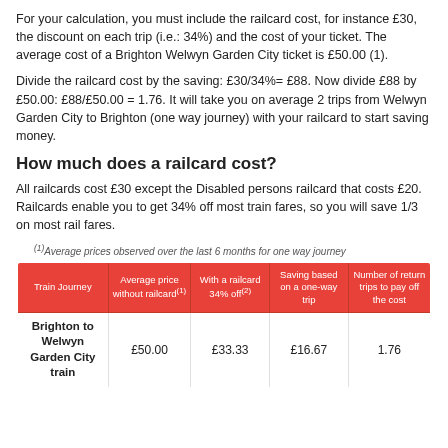For your calculation, you must include the railcard cost, for instance £30, the discount on each trip (i.e.: 34%) and the cost of your ticket. The average cost of a Brighton Welwyn Garden City ticket is £50.00 (1).
Divide the railcard cost by the saving: £30/34%= £88. Now divide £88 by £50.00: £88/£50.00 = 1.76. It will take you on average 2 trips from Welwyn Garden City to Brighton (one way journey) with your railcard to start saving money.
How much does a railcard cost?
All railcards cost £30 except the Disabled persons railcard that costs £20. Railcards enable you to get 34% off most train fares, so you will save 1/3 on most rail fares.
(1)Average prices observed over the last 6 months for one way journey
| Train Journey | Average price without railcard(1) | With a railcard 34% off(2) | Saving based on a one-way trip | Number of return trips to pay off the cost |
| --- | --- | --- | --- | --- |
| Brighton to Welwyn Garden City train | £50.00 | £33.33 | £16.67 | 1.76 |